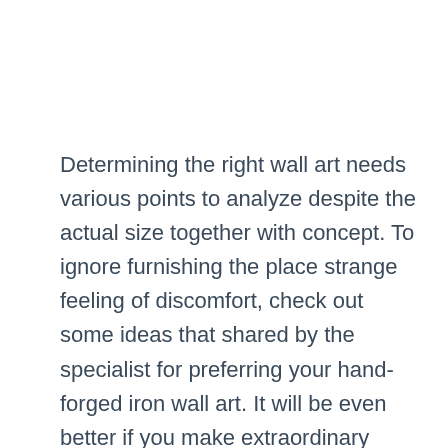Determining the right wall art needs various points to analyze despite the actual size together with concept. To ignore furnishing the place strange feeling of discomfort, check out some ideas that shared by the specialist for preferring your hand-forged iron wall art. It will be even better if you make extraordinary character. Color scheme and also individualism could make any existing living space seem like this is positively yours. Incorporate the right